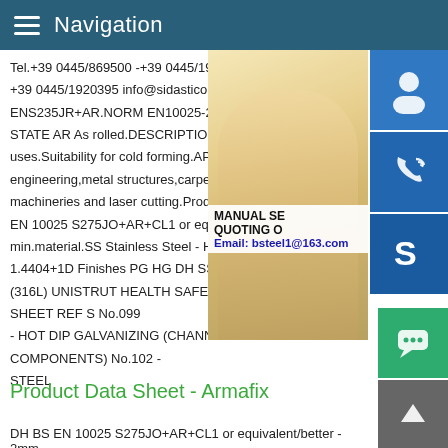Navigation
Tel.+39 0445/869500 -+39 0445/1920895 +39 0445/1920395 info@sidasticoS235JR ENS235JR+AR.NORM EN10025-2 2004 D STATE AR As rolled.DESCRIPTION Non a uses.Suitability for cold forming.APPLICAT engineering,metal structures,carpentry,tan machineries and laser cutting.Product Dat EN 10025 S275JO+AR+CL1 or equivalen min.material.SS Stainless Steel - Hot Rolle 1.4404+1D Finishes PG HG DH SS Stainl (316L) UNISTRUT HEALTH SAFETY DATA SHEET REF S No.099 - HOT DIP GALVANIZING (CHANNEL COMPONENTS) No.102 - STEEL
[Figure (photo): Photo of a woman wearing a headset, overlaid with blue icon buttons (customer service, phone, Skype) and a contact box with MANUAL SE, QUOTING O, Email: bsteel1@163.com]
Product Data Sheet - Armafix
DH BS EN 10025 S275JO+AR+CL1 or equivalent/better - 2mm